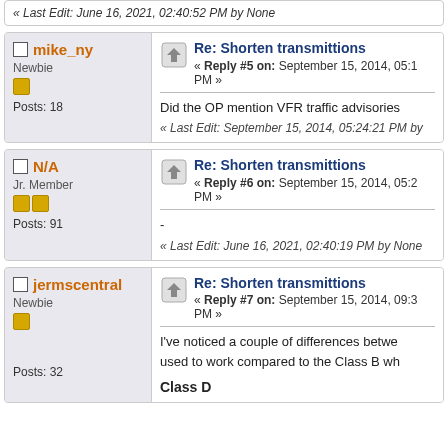« Last Edit: June 16, 2021, 02:40:52 PM by None
mike_ny — Newbie — Posts: 18
Re: Shorten transmittions « Reply #5 on: September 15, 2014, 05:1 PM »
Did the OP mention VFR traffic advisories
« Last Edit: September 15, 2014, 05:24:21 PM by
N/A — Jr. Member — Posts: 91
Re: Shorten transmittions « Reply #6 on: September 15, 2014, 05:2 PM »
-
« Last Edit: June 16, 2021, 02:40:19 PM by None
jermscentral — Newbie — Posts: 32
Re: Shorten transmittions « Reply #7 on: September 15, 2014, 09:3 PM »
I've noticed a couple of differences betwe used to work compared to the Class B wh
Class D